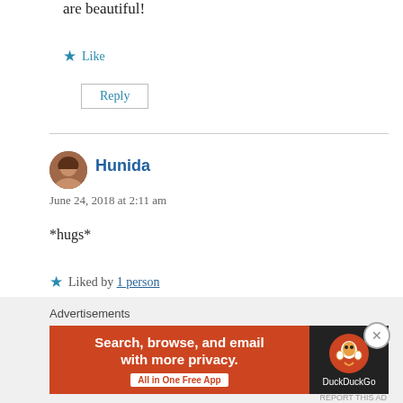are beautiful!
Like
Reply
Hunida
June 24, 2018 at 2:11 am
*hugs*
Liked by 1 person
Advertisements
[Figure (illustration): DuckDuckGo advertisement banner: orange background with text 'Search, browse, and email with more privacy.' and 'All in One Free App', with DuckDuckGo logo on dark right panel]